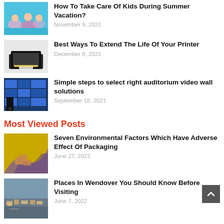[Figure (photo): Children playing in a pool with floaties]
How To Take Care Of Kids During Summer Vacation?
November 9, 2021
[Figure (photo): A Canon printer on a desk]
Best Ways To Extend The Life Of Your Printer
December 8, 2021
[Figure (photo): Person in front of a video wall display]
Simple steps to select right auditorium video wall solutions
September 18, 2021
Most Viewed Posts
[Figure (photo): Road and boxes on yellow/purple background]
Seven Environmental Factors Which Have Adverse Effect Of Packaging
June 27, 2022
[Figure (photo): Aerial view of a city/town]
Places In Wendover You Should Know Before Visiting
June 7, 2022